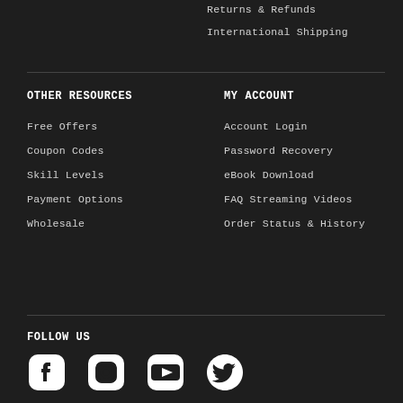Returns & Refunds
International Shipping
OTHER RESOURCES
Free Offers
Coupon Codes
Skill Levels
Payment Options
Wholesale
MY ACCOUNT
Account Login
Password Recovery
eBook Download
FAQ Streaming Videos
Order Status & History
FOLLOW US
[Figure (illustration): Social media icons: Facebook, Instagram, YouTube, Twitter]